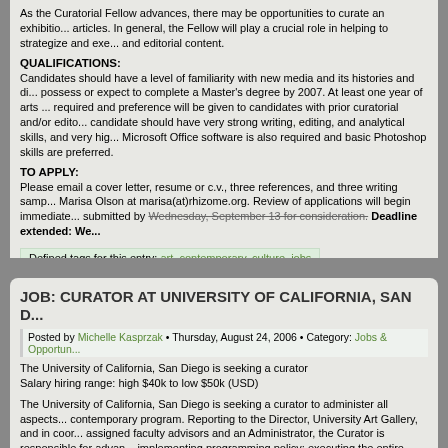As the Curatorial Fellow advances, there may be opportunities to curate an exhibition and write articles. In general, the Fellow will play a crucial role in helping to strategize and execute curatorial and editorial content.
QUALIFICATIONS:
Candidates should have a level of familiarity with new media and its histories and discourses and possess or expect to complete a Master's degree by 2007. At least one year of arts administration is required and preference will be given to candidates with prior curatorial and/or editorial experience. The candidate should have very strong writing, editing, and analytical skills, and very high proficiency. Microsoft Office software is also required and basic Photoshop skills are preferred.
TO APPLY:
Please email a cover letter, resume or c.v., three references, and three writing samples to Marisa Olson at marisa(at)rhizome.org. Review of applications will begin immediately. Please submitted by Wednesday, September 13 for consideration. Deadline extended: We...
Defined tags for this entry: art, contemporary, culture, jobs
JOB: CURATOR AT UNIVERSITY OF CALIFORNIA, SAN D...
Posted by Michelle Kasprzak • Thursday, August 24, 2006 • Category: Jobs & Opportun...
The University of California, San Diego is seeking a curator
Salary hiring range: high $40k to low $50k (USD)
The University of California, San Diego is seeking a curator to administer all aspects of its contemporary program. Reporting to the Director, University Art Gallery, and in coordination with assigned faculty advisors and an Administrator, the Curator is responsible for advancing and implementing programming policy; executing the entire sequence of curatorial functions; advising the Director regarding Gallery management functions; providing supervision in associated communications and development activities. The mission of the University... contemporary art into the life of the university; exhibit and interpret art as an ed...